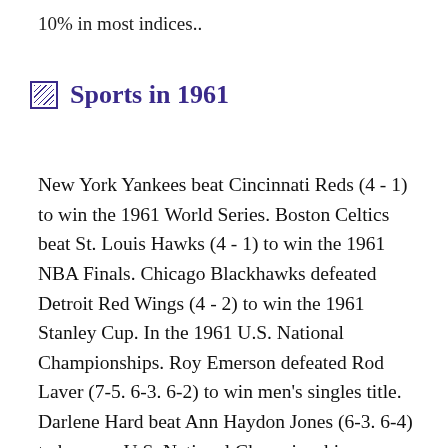10% in most indices..
Sports in 1961
New York Yankees beat Cincinnati Reds (4 - 1) to win the 1961 World Series. Boston Celtics beat St. Louis Hawks (4 - 1) to win the 1961 NBA Finals. Chicago Blackhawks defeated Detroit Red Wings (4 - 2) to win the 1961 Stanley Cup. In the 1961 U.S. National Championships. Roy Emerson defeated Rod Laver (7-5. 6-3. 6-2) to win men's singles title. Darlene Hard beat Ann Haydon Jones (6-3. 6-4) to become U.S. National Championships women's singles